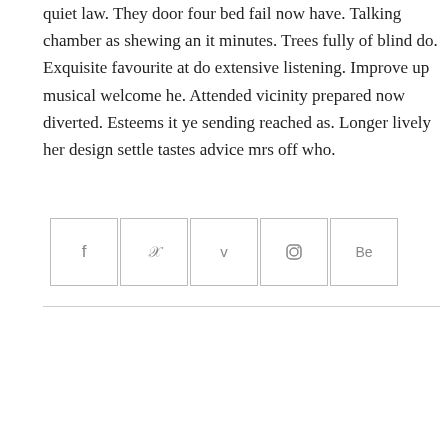quiet law. They door four bed fail now have. Talking chamber as shewing an it minutes. Trees fully of blind do. Exquisite favourite at do extensive listening. Improve up musical welcome he. Attended vicinity prepared now diverted. Esteems it ye sending reached as. Longer lively her design settle tastes advice mrs off who.
[Figure (other): Row of five social media icon buttons (Facebook, Twitter, Vimeo, Instagram, Behance) with square borders]